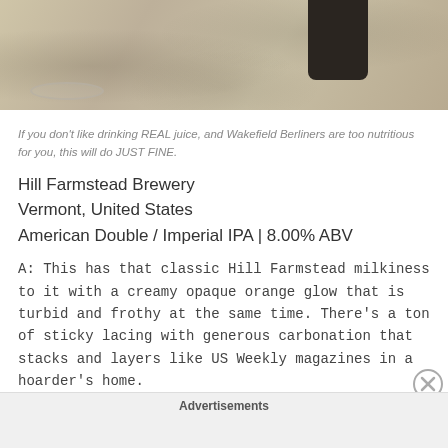[Figure (photo): Photo of a granite countertop with a glass rim visible at bottom left and a dark object at top right, cropped to show only the bottom portion of the scene.]
If you don't like drinking REAL juice, and Wakefield Berliners are too nutritious for you, this will do JUST FINE.
Hill Farmstead Brewery
Vermont, United States
American Double / Imperial IPA | 8.00% ABV
A: This has that classic Hill Farmstead milkiness to it with a creamy opaque orange glow that is turbid and frothy at the same time. There's a ton of sticky lacing with generous carbonation that stacks and layers like US Weekly magazines in a hoarder's home.
Advertisements